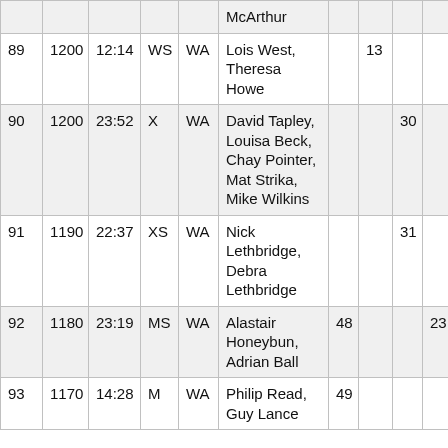|  |  |  |  |  | McArthur |  |  |  |  |
| 89 | 1200 | 12:14 | WS | WA | Lois West, Theresa Howe |  | 13 |  |  |
| 90 | 1200 | 23:52 | X | WA | David Tapley, Louisa Beck, Chay Pointer, Mat Strika, Mike Wilkins |  |  | 30 |  |
| 91 | 1190 | 22:37 | XS | WA | Nick Lethbridge, Debra Lethbridge |  |  | 31 |  |
| 92 | 1180 | 23:19 | MS | WA | Alastair Honeybun, Adrian Ball | 48 |  |  | 23 |
| 93 | 1170 | 14:28 | M | WA | Philip Read, Guy Lance | 49 |  |  |  |